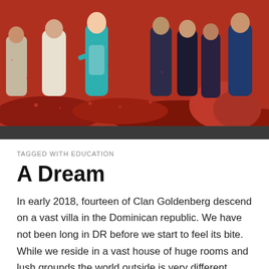[Figure (illustration): Colorful painting/illustration showing multiple figures in robes and clothing standing on red rocky terrain, with blues, reds, and earth tones dominant.]
TAGGED WITH EDUCATION
A Dream
In early 2018, fourteen of Clan Goldenberg descend on a vast villa in the Dominican republic. We have not been long in DR before we start to feel its bite. While we reside in a vast house of huge rooms and lush grounds the world outside is very different. Simply put, the people are poor. While the sun-and rain-drenched soil feeds most of its 13 million people more-or-less adequately, measures of